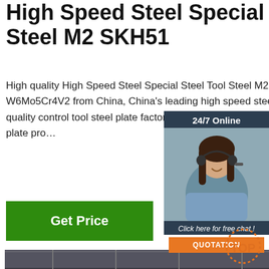High Speed Steel Special Steel Tool Steel M2 SKH51
High quality High Speed Steel Special Steel Tool Steel M2 SKH51 1.3343 W6Mo5Cr4V2 from China, China's leading high speed steel with strict quality control tool steel plate factories, producing high quality tool steel plate products.
[Figure (infographic): 24/7 Online chat widget with woman wearing headset, dark blue background, 'Click here for free chat!' text, and orange QUOTATION button]
[Figure (photo): Close-up photograph of stacked high speed steel tool steel bars/plates arranged in a grid pattern, dark metallic grey color]
[Figure (logo): TOP badge logo with orange dotted circle and orange TOP text]